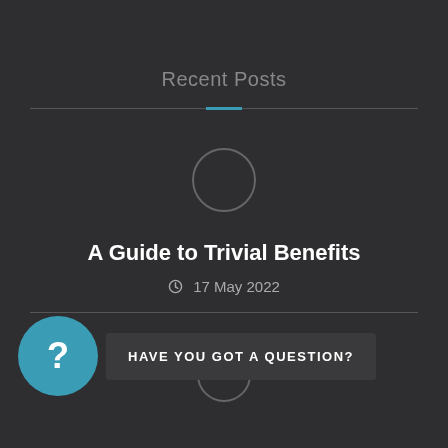Recent Posts
[Figure (illustration): Circular placeholder image outline, grey circle stroke, dark background]
A Guide to Trivial Benefits
17 May 2022
[Figure (illustration): Second circular placeholder image outline, grey circle stroke, dark background]
HAVE YOU GOT A QUESTION?